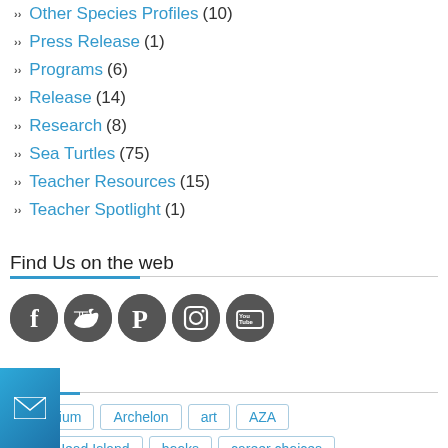Other Species Profiles (10)
Press Release (1)
Programs (6)
Release (14)
Research (8)
Sea Turtles (75)
Teacher Resources (15)
Teacher Spotlight (1)
Find Us on the web
[Figure (infographic): Five social media icon circles: Facebook (f), Twitter (bird), Pinterest (P), Instagram (camera), YouTube (You Tube)]
Tags
aquarium
Archelon
art
AZA
Bald Head Island
books
career choices
Carolina Beach State Park
classroom spotlight